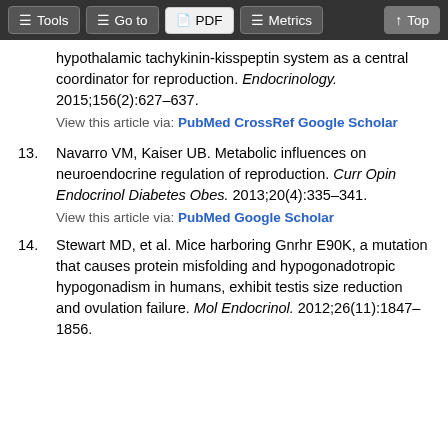Tools  Go to  PDF  Metrics  Top
hypothalamic tachykinin-kisspeptin system as a central coordinator for reproduction. Endocrinology. 2015;156(2):627–637.
View this article via: PubMed CrossRef Google Scholar
13. Navarro VM, Kaiser UB. Metabolic influences on neuroendocrine regulation of reproduction. Curr Opin Endocrinol Diabetes Obes. 2013;20(4):335–341.
View this article via: PubMed Google Scholar
14. Stewart MD, et al. Mice harboring Gnrhr E90K, a mutation that causes protein misfolding and hypogonadotropic hypogonadism in humans, exhibit testis size reduction and ovulation failure. Mol Endocrinol. 2012;26(11):1847–1856.